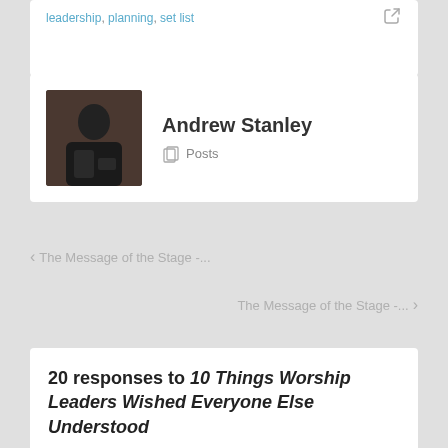leadership, planning, set list
Andrew Stanley
Posts
The Message of the Stage -...
The Message of the Stage -...
20 responses to 10 Things Worship Leaders Wished Everyone Else Understood
Aidan Hennebry July 23, 2013 at 11:24 am